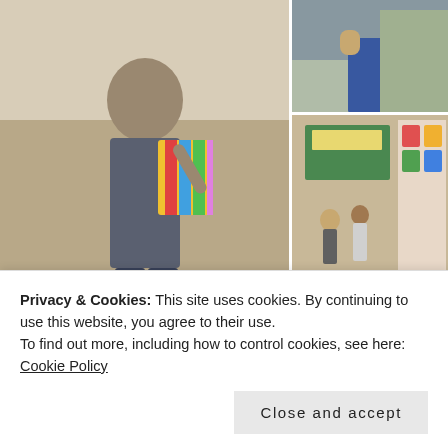[Figure (photo): Collage of 6 photos from what appears to be a Chinese kindergarten or school. Top-left large photo: a young boy in a jacket waving and holding a colorful kite/gift. Top-right: two smaller photos — a woman in blue outdoors, and children/adults in a school hallway with decorations. Bottom row: three photos — a group of women and children indoors, a boy walking past bunk beds, and a bright corridor with people walking.]
Privacy & Cookies: This site uses cookies. By continuing to use this website, you agree to their use.
To find out more, including how to control cookies, see here: Cookie Policy